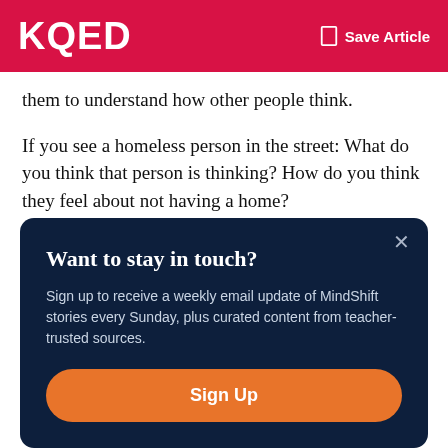KQED  Save Article
them to understand how other people think.
If you see a homeless person in the street: What do you think that person is thinking? How do you think they feel about not having a home?
Want to stay in touch?
Sign up to receive a weekly email update of MindShift stories every Sunday, plus curated content from teacher-trusted sources.
Sign Up